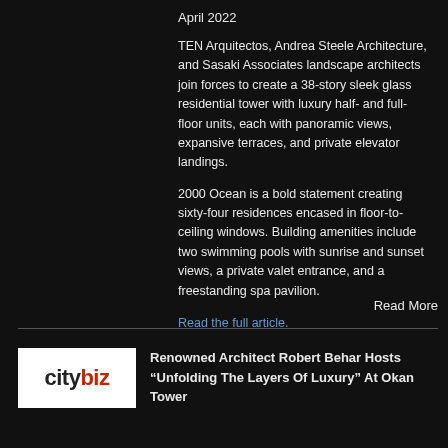April 2022
TEN Arquitectos, Andrea Steele Architecture, and Sasaki Associates landscape architects join forces to create a 38-story sleek glass residential tower with luxury half- and full-floor units, each with panoramic views, expansive terraces, and private elevator landings.
2000 Ocean is a bold statement creating sixty-four residences encased in floor-to-ceiling windows. Building amenities include two swimming pools with sunrise and sunset views, a private valet entrance, and a freestanding spa pavilion.
Read the full article.
Read More
[Figure (logo): citybiz logo with 'city' in dark/black and 'biz' in red on white background]
Renowned Architect Robert Behar Hosts “Unfolding The Layers Of Luxury” At Okan Tower